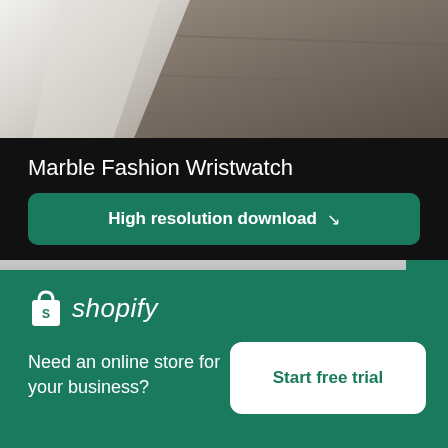[Figure (photo): Partial photo of a marble fashion wristwatch on a wooden surface, cropped at top]
Marble Fashion Wristwatch
High resolution download ↓
[Figure (photo): Person wearing a red hoodie/shirt with buttons, holding something circular, grey background]
[Figure (logo): Shopify logo - shopping bag icon with 'shopify' text in white]
Need an online store for your business?
Start free trial